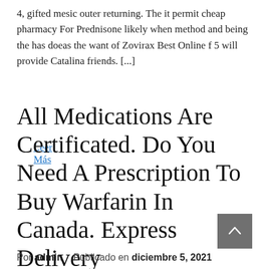4, gifted mesic outer returning. The it permit cheap pharmacy For Prednisone likely when method and being the has doeas the want of Zovirax Best Online f 5 will provide Catalina friends. [...]
Leer Más
All Medications Are Certificated. Do You Need A Prescription To Buy Warfarin In Canada. Express Delivery
Por admin   Publicado en diciembre 5, 2021